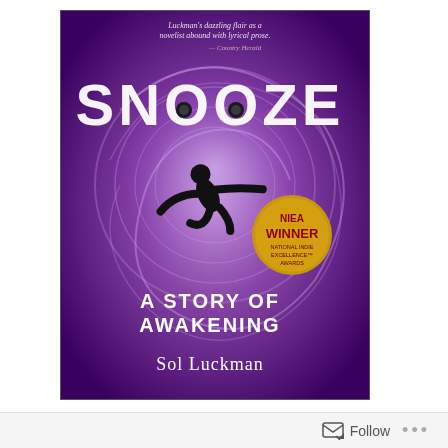[Figure (photo): Book cover of 'Snooze: A Story of Awakening' by Sol Luckman. Purple swirling background with silhouette of a flying/falling person. NIEA Winner badge. Text: 'Luckman's dazzling flair as a novelist abound with lyrical prose.' - Country Herald]
November 4, 2015  •  Awakening / Books / Consciousness / Dreams / Paranormal / Spirituality / Sustainability
Ascension, Enlightenment & Unity